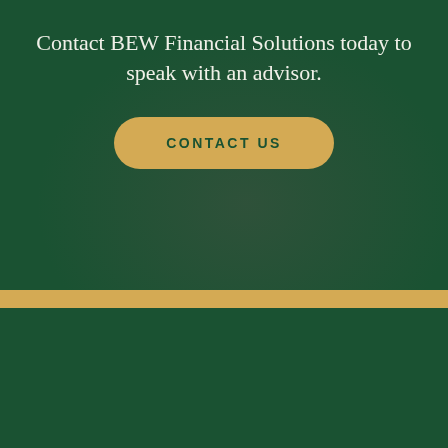Contact BEW Financial Solutions today to speak with an advisor.
[Figure (other): Dark green background section with a subtle overlay showing a blurred person in the background, containing centered text and a gold rounded button labeled CONTACT US, followed by a gold horizontal bar and a solid dark green footer section.]